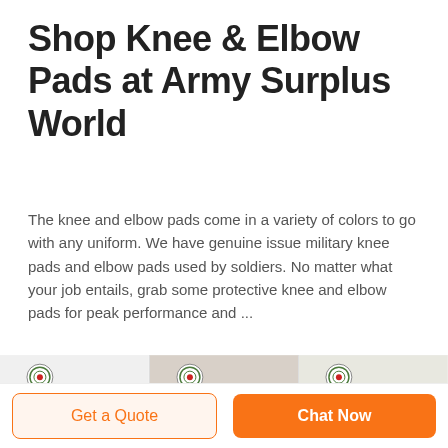Shop Knee & Elbow Pads at Army Surplus World
The knee and elbow pads come in a variety of colors to go with any uniform. We have genuine issue military knee pads and elbow pads used by soldiers. No matter what your job entails, grab some protective knee and elbow pads for peak performance and ...
[Figure (photo): Three product images with DEEKON branding: a tan military coat, camouflage fabric, and a police tactical vest/body armor]
Get a Quote
Chat Now